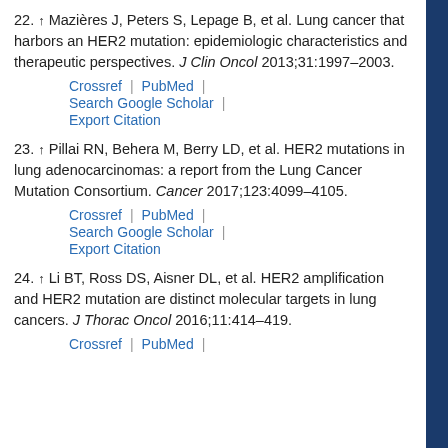22. ↑ Mazières J, Peters S, Lepage B, et al. Lung cancer that harbors an HER2 mutation: epidemiologic characteristics and therapeutic perspectives. J Clin Oncol 2013;31:1997–2003.
23. ↑ Pillai RN, Behera M, Berry LD, et al. HER2 mutations in lung adenocarcinomas: a report from the Lung Cancer Mutation Consortium. Cancer 2017;123:4099–4105.
24. ↑ Li BT, Ross DS, Aisner DL, et al. HER2 amplification and HER2 mutation are distinct molecular targets in lung cancers. J Thorac Oncol 2016;11:414–419.